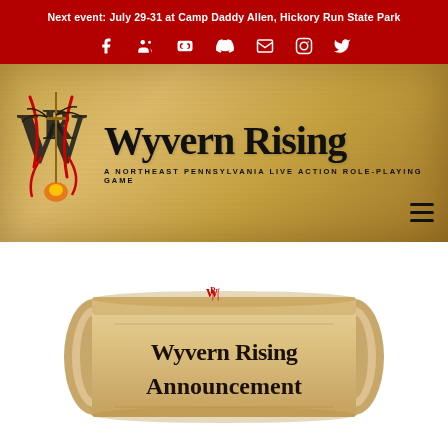Next event: July 29-31 at Camp Daddy Allen, Hickory Run State Park
[Figure (screenshot): Wyvern Rising LARP website header with logo (stylized WR letters with dragon/sword imagery) and title text 'Wyvern Rising' with subtitle 'A Northeast Pennsylvania Live Action Role-Playing Game' on a parchment-textured gold/brown background]
[Figure (illustration): A decorative scroll/parchment banner with 'Wyvern Rising Announcement' written in medieval blackletter font, with the Wyvern Rising logo emblem on top, on a beige/tan scroll with rolled ends]